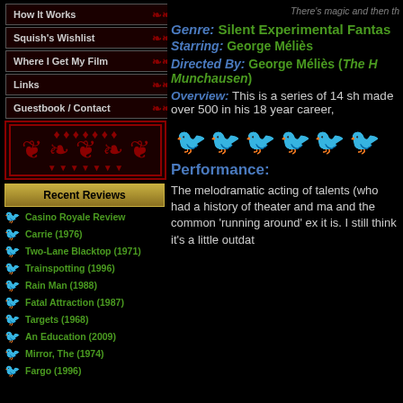How It Works
Squish's Wishlist
Where I Get My Film
Links
Guestbook / Contact
[Figure (illustration): Decorative red ornamental bar with symmetrical scroll/vine design on black background]
Recent Reviews
Casino Royale Review
Carrie (1976)
Two-Lane Blacktop (1971)
Trainspotting (1996)
Rain Man (1988)
Fatal Attraction (1987)
Targets (1968)
An Education (2009)
Mirror, The (1974)
Fargo (1996)
There's magic and then th
Genre: Silent Experimental Fantas
Starring: George Méliès
Directed By: George Méliès (The H Munchausen)
Overview: This is a series of 14 sh made over 500 in his 18 year career,
[Figure (illustration): Row of red bird/raven silhouette icons used as rating stars]
Performance:
The melodramatic acting of talents (who had a history of theater and ma and the common 'running around' ex it is. I still think it's a little outdat